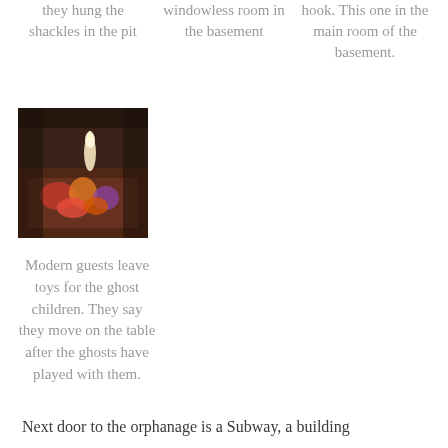they hung the shackles in the pit
windowless room in the basement
hook. This one in the main room of the basement.
[Figure (photo): A dark photo showing a table covered with stuffed toys and dolls in a dim, atmospheric room with candles and dark surroundings.]
Modern guests leave toys for the ghost children. They say they move on the table after the ghosts have played with them.
Next door to the orphanage is a Subway, a building